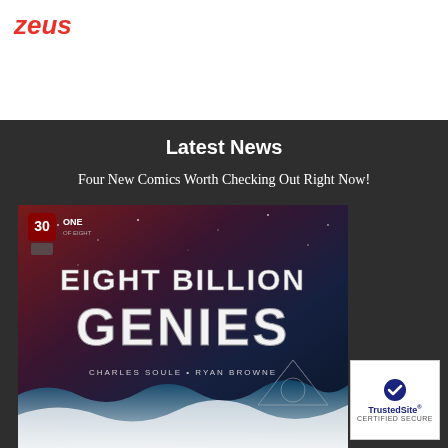zeus
Latest News
Four New Comics Worth Checking Out Right Now!
[Figure (photo): Comic book cover for 'Eight Billion Genies' by Charles Soule and Ryan Browne. Issue #1 of 8, labeled as number 30. Dark space-themed background with large stylized white lettering.]
[Figure (logo): TrustedSite Certified Secure badge with checkmark]